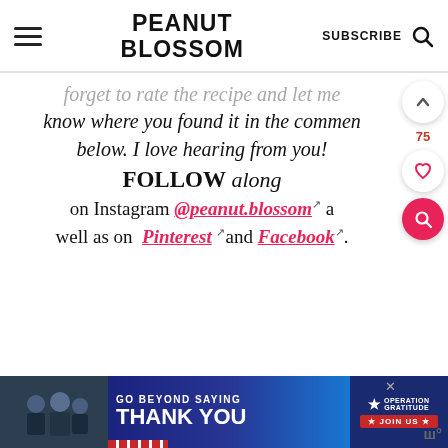PEANUT BLOSSOM — SUBSCRIBE
forget to rate the recipe and let me know where you found it in the comments below. I love hearing from you! FOLLOW along on Instagram @peanut.blossom as well as on Pinterest and Facebook.
[Figure (screenshot): Advertisement banner: Go Beyond Saying Thank You — Operation Gratitude — Join Us]